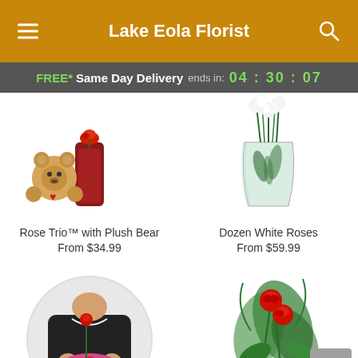Lake Eola Florist
FREE* Same Day Delivery ends in: 04 : 30 : 07
[Figure (photo): Rose Trio with Plush Bear product photo - a red rose vase with a teddy bear]
Rose Trio™ with Plush Bear
From $34.99
[Figure (photo): Dozen White Roses product photo - white roses in a glass vase]
Dozen White Roses
From $59.99
[Figure (photo): Florist holding a colorful mixed flower bouquet with roses and wildflowers, circular crop]
[Figure (photo): Two red roses with greenery tied with red ribbon bow]